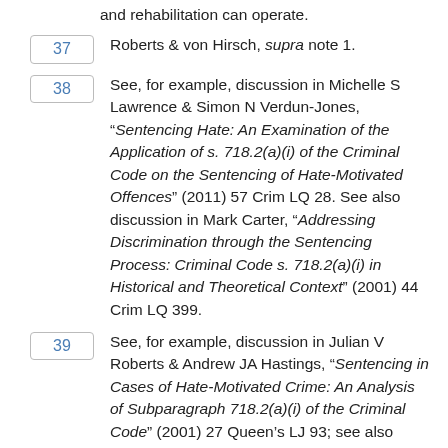and rehabilitation can operate.
37  Roberts & von Hirsch, supra note 1.
38  See, for example, discussion in Michelle S Lawrence & Simon N Verdun-Jones, “Sentencing Hate: An Examination of the Application of s. 718.2(a)(i) of the Criminal Code on the Sentencing of Hate-Motivated Offences” (2011) 57 Crim LQ 28. See also discussion in Mark Carter, “Addressing Discrimination through the Sentencing Process: Criminal Code s. 718.2(a)(i) in Historical and Theoretical Context” (2001) 44 Crim LQ 399.
39  See, for example, discussion in Julian V Roberts & Andrew JA Hastings, “Sentencing in Cases of Hate-Motivated Crime: An Analysis of Subparagraph 718.2(a)(i) of the Criminal Code” (2001) 27 Queen’s LJ 93; see also Lawrence &